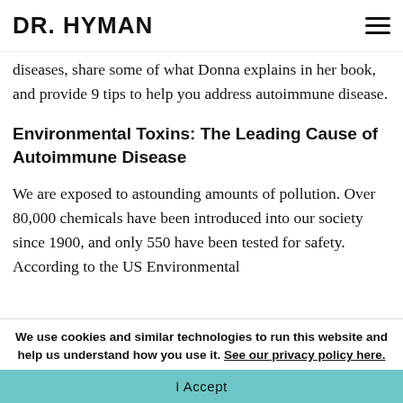DR. HYMAN
diseases, share some of what Donna explains in her book, and provide 9 tips to help you address autoimmune disease.
Environmental Toxins: The Leading Cause of Autoimmune Disease
We are exposed to astounding amounts of pollution. Over 80,000 chemicals have been introduced into our society since 1900, and only 550 have been tested for safety. According to the US Environmental
We use cookies and similar technologies to run this website and help us understand how you use it. See our privacy policy here.
I Accept